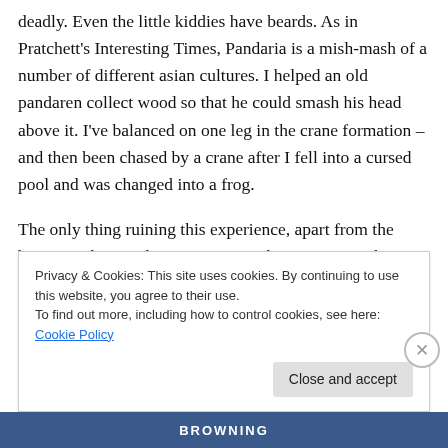deadly. Even the little kiddies have beards. As in Pratchett's Interesting Times, Pandaria is a mish-mash of a number of different asian cultures. I helped an old pandaren collect wood so that he could smash his head above it. I've balanced on one leg in the crane formation – and then been chased by a crane after I fell into a cursed pool and was changed into a frog.
The only thing ruining this experience, apart from the bugs, are the people. I'm not sure who's giving out beta passes, but I think they need to use a little bit of
Privacy & Cookies: This site uses cookies. By continuing to use this website, you agree to their use.
To find out more, including how to control cookies, see here: Cookie Policy